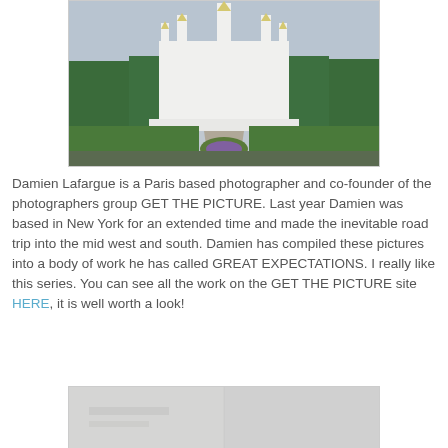[Figure (photo): Photograph of a large white temple with multiple spires, surrounded by manicured gardens with flower beds and green lawns, under an overcast sky.]
Damien Lafargue is a Paris based photographer and co-founder of the photographers group GET THE PICTURE. Last year Damien was based in New York for an extended time and made the inevitable road trip into the mid west and south. Damien has compiled these pictures into a body of work he has called GREAT EXPECTATIONS. I really like this series. You can see all the work on the GET THE PICTURE site HERE, it is well worth a look!
[Figure (photo): Partially visible photograph showing a light-colored interior or exterior scene, appearing washed out and bright.]